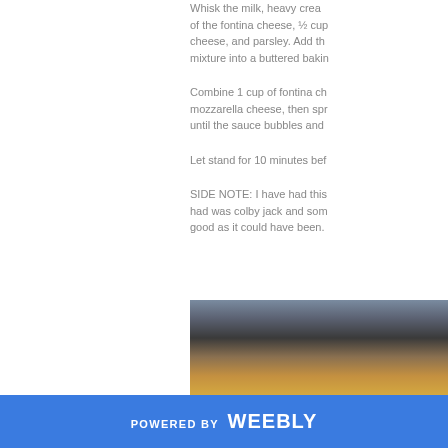Whisk the milk, heavy cream of the fontina cheese, ½ cup cheese, and parsley. Add the mixture into a buttered baking
Combine 1 cup of fontina cheese mozzarella cheese, then spread until the sauce bubbles and
Let stand for 10 minutes before
SIDE NOTE: I have had this had was colby jack and some good as it could have been.
[Figure (photo): Close-up photo of baked macaroni and cheese in a baking dish, showing browned cheesy top.]
POWERED BY weebly